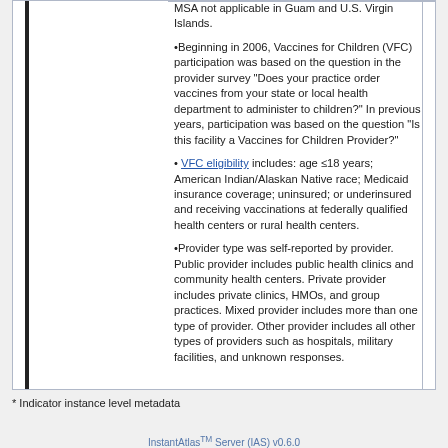MSA not applicable in Guam and U.S. Virgin Islands.
•Beginning in 2006, Vaccines for Children (VFC) participation was based on the question in the provider survey "Does your practice order vaccines from your state or local health department to administer to children?" In previous years, participation was based on the question "Is this facility a Vaccines for Children Provider?"
• VFC eligibility includes: age ≤18 years; American Indian/Alaskan Native race; Medicaid insurance coverage; uninsured; or underinsured and receiving vaccinations at federally qualified health centers or rural health centers.
•Provider type was self-reported by provider. Public provider includes public health clinics and community health centers. Private provider includes private clinics, HMOs, and group practices. Mixed provider includes more than one type of provider. Other provider includes all other types of providers such as hospitals, military facilities, and unknown responses.
* Indicator instance level metadata
InstantAtlas™ Server (IAS) v0.6.0